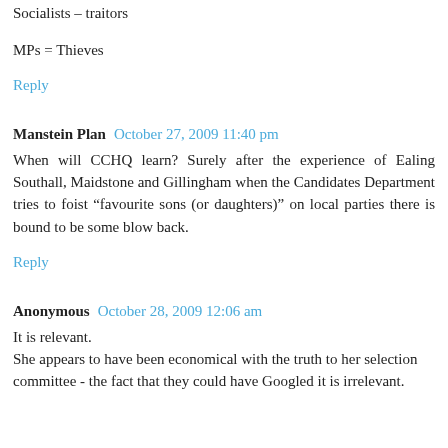Socialists – traitors
MPs = Thieves
Reply
Manstein Plan  October 27, 2009 11:40 pm
When will CCHQ learn? Surely after the experience of Ealing Southall, Maidstone and Gillingham when the Candidates Department tries to foist "favourite sons (or daughters)" on local parties there is bound to be some blow back.
Reply
Anonymous  October 28, 2009 12:06 am
It is relevant.
She appears to have been economical with the truth to her selection committee - the fact that they could have Googled it is irrelevant.